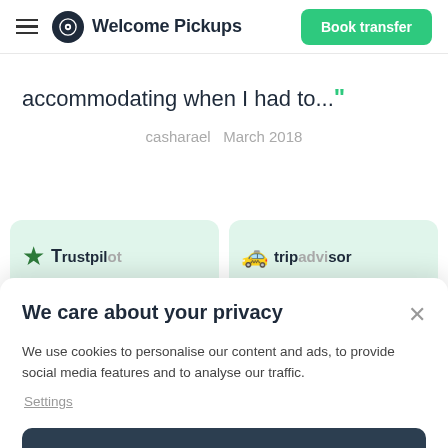Welcome Pickups — Book transfer
accommodating when I had to..."
casharael   March 2018
[Figure (screenshot): Two partially visible green review cards at bottom of page]
We care about your privacy
We use cookies to personalise our content and ads, to provide social media features and to analyse our traffic.
Settings
Accept